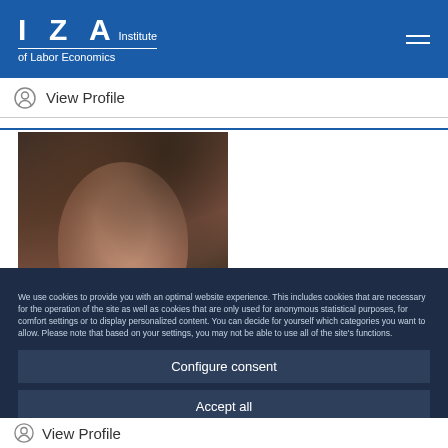IZA Institute of Labor Economics
View Profile
[Figure (photo): Profile photo of a woman with brown hair, smiling, at an event]
We use cookies to provide you with an optimal website experience. This includes cookies that are necessary for the operation of the site as well as cookies that are only used for anonymous statistical purposes, for comfort settings or to display personalized content. You can decide for yourself which categories you want to allow. Please note that based on your settings, you may not be able to use all of the site's functions.
Configure consent
Accept all
View Profile